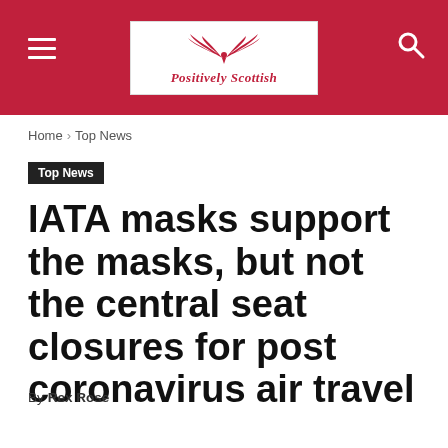Positively Scottish
Home › Top News
Top News
IATA masks support the masks, but not the central seat closures for post coronavirus air travel
By Rex Rose